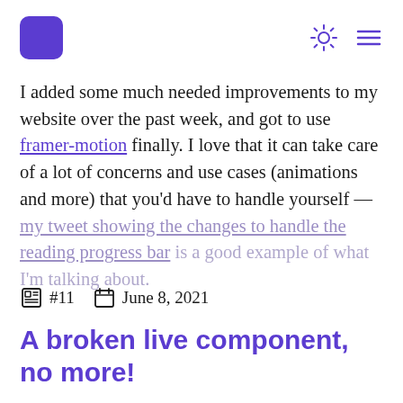[logo] [sun icon] [menu icon]
I added some much needed improvements to my website over the past week, and got to use framer-motion finally. I love that it can take care of a lot of concerns and use cases (animations and more) that you'd have to handle yourself — my tweet showing the changes to handle the reading progress bar is a good example of what I'm talking about.
#11   June 8, 2021
A broken live component, no more!